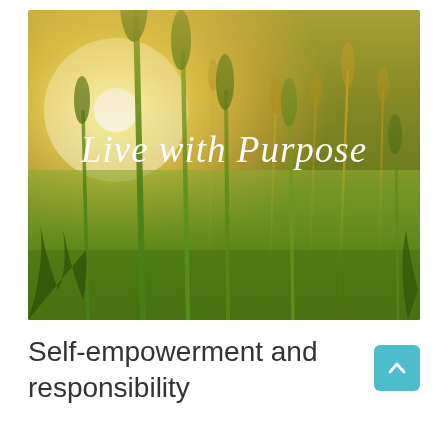[Figure (photo): A photo of green wheat stalks with a bright sun setting/rising in the background, creating a golden-green hue. Overlaid cursive white text reads 'Live with Purpose'.]
Self-empowerment and responsibility